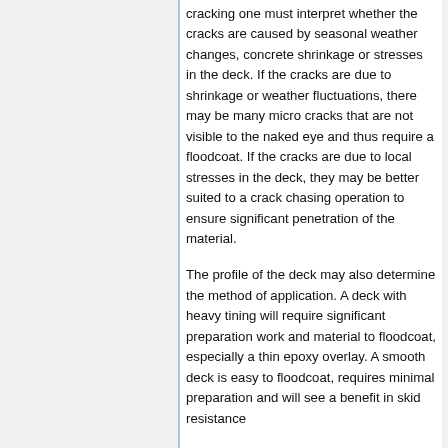cracking one must interpret whether the cracks are caused by seasonal weather changes, concrete shrinkage or stresses in the deck. If the cracks are due to shrinkage or weather fluctuations, there may be many micro cracks that are not visible to the naked eye and thus require a floodcoat. If the cracks are due to local stresses in the deck, they may be better suited to a crack chasing operation to ensure significant penetration of the material.
The profile of the deck may also determine the method of application. A deck with heavy tining will require significant preparation work and material to floodcoat, especially a thin epoxy overlay. A smooth deck is easy to floodcoat, requires minimal preparation and will see a benefit in skid resistance